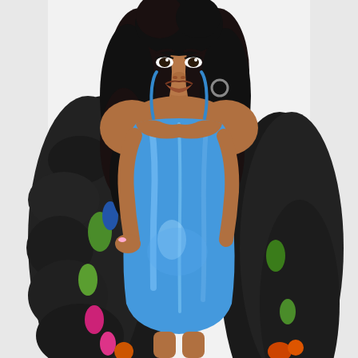[Figure (photo): A woman standing on a red carpet / event backdrop wearing a shiny metallic blue spaghetti-strap mini dress and holding a colorful fur coat (black with green, blue, pink, and orange accents). She has long dark curly hair. The white backdrop behind her shows partial text reading '25 YEARS', 'N', 'LIDATION', 'Y FOUNDATION' on the left side, and 'BOB' 'MA' on the right side, indicating a charity or foundation event.]